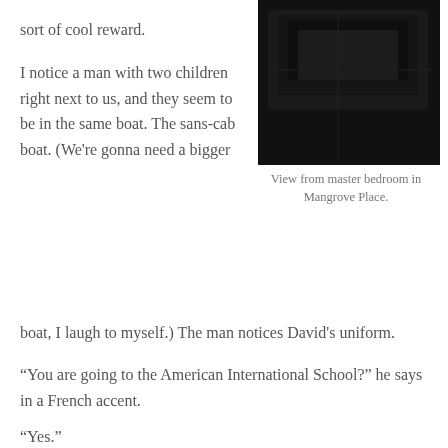sort of cool reward.
[Figure (photo): Dark photo of what appears to be a bedroom interior, view from master bedroom in Mangrove Place.]
View from master bedroom in Mangrove Place.
I notice a man with two children right next to us, and they seem to be in the same boat. The sans-cab boat. (We're gonna need a bigger boat, I laugh to myself.) The man notices David's uniform.
“You are going to the American International School?” he says in a French accent.
“Yes.”
“My children are going to the American school too.” I